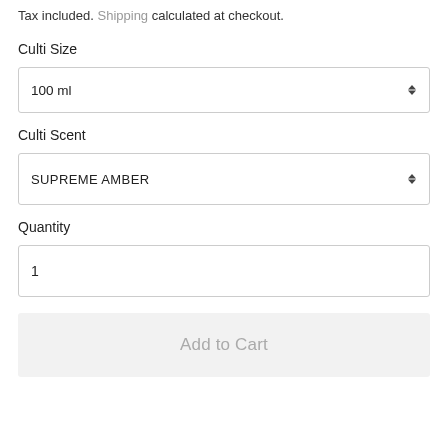Tax included. Shipping calculated at checkout.
Culti Size
100 ml
Culti Scent
SUPREME AMBER
Quantity
1
Add to Cart